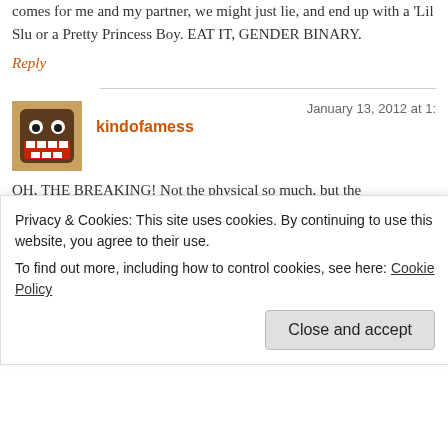comes for me and my partner, we might just lie, and end up with a 'Lil Slu or a Pretty Princess Boy. EAT IT, GENDER BINARY.
Reply
kindofamess
January 13, 2012 at 1:
OH, THE BREAKING! Not the physical so much, but the emotional…what if they don't find me funny? Am I gonna be the mor embarrasses them in the carpool lane?!?
Part of me thinks that would be hilarious, though.

And the gender thing is most of the reason why we might not tell, bec OMFG. Also, it's not foolproof. Tell that to my co-worker who was to was having a boy and out popped a beautiful little girl, who now lives
Privacy & Cookies: This site uses cookies. By continuing to use this website, you agree to their use.
To find out more, including how to control cookies, see here: Cookie Policy
Close and accept